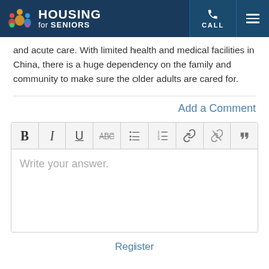Housing for Seniors — CALL / Menu
and acute care. With limited health and medical facilities in China, there is a huge dependency on the family and community to make sure the older adults are cared for.
Add a Comment
[Figure (screenshot): Rich text editor toolbar with buttons: Bold (B), Italic (I), Underline (U), Strikethrough (ABC), Unordered list, Ordered list, Link, Unlink, Blockquote]
Write your answer.
Register